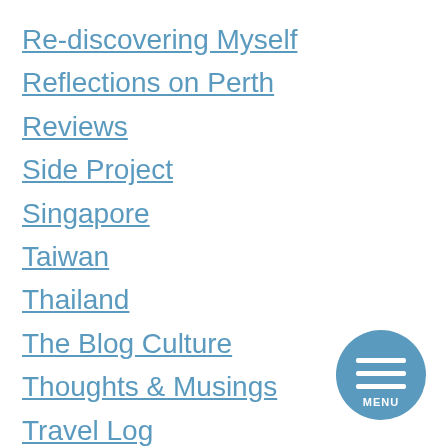Re-discovering Myself
Reflections on Perth
Reviews
Side Project
Singapore
Taiwan
Thailand
The Blog Culture
Thoughts & Musings
Travel Log
Uncategorized
Understanding Women
United Kingdom
[Figure (other): Circular blue menu button with three white horizontal lines and the word MENU below them]